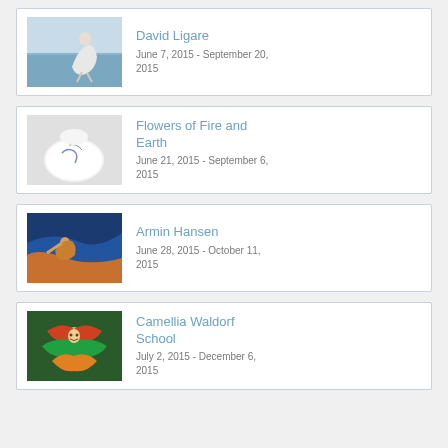[Figure (photo): Painting of a woman in white dress sitting by water]
David Ligare
June 7, 2015 - September 20, 2015
[Figure (photo): White ceramic or porcelain dome-shaped object with blue markings]
Flowers of Fire and Earth
June 21, 2015 - September 6, 2015
[Figure (photo): Painting of a fisherman on a boat in colorful ocean waves]
Armin Hansen
June 28, 2015 - October 11, 2015
[Figure (photo): Colorful costume figure with feathers and decorative mask]
Camellia Waldorf School
July 2, 2015 - December 6, 2015